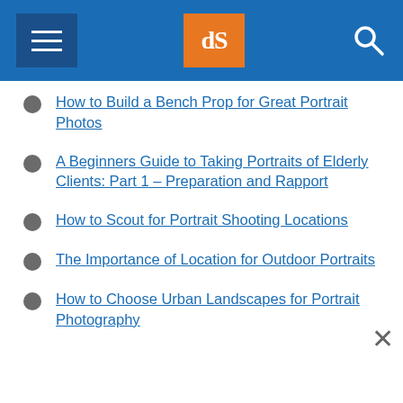dPS navigation header
How to Build a Bench Prop for Great Portrait Photos
A Beginners Guide to Taking Portraits of Elderly Clients: Part 1 – Preparation and Rapport
How to Scout for Portrait Shooting Locations
The Importance of Location for Outdoor Portraits
How to Choose Urban Landscapes for Portrait Photography